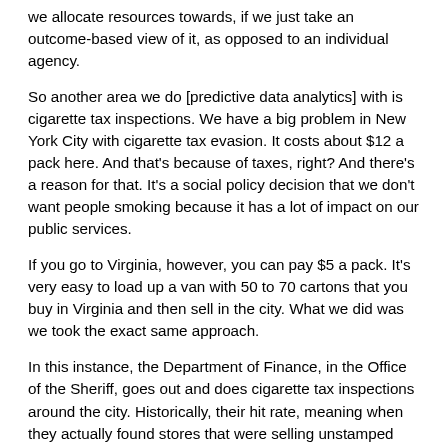we allocate resources towards, if we just take an outcome-based view of it, as opposed to an individual agency.
So another area we do [predictive data analytics] with is cigarette tax inspections. We have a big problem in New York City with cigarette tax evasion. It costs about $12 a pack here. And that's because of taxes, right? And there's a reason for that. It's a social policy decision that we don't want people smoking because it has a lot of impact on our public services.
If you go to Virginia, however, you can pay $5 a pack. It's very easy to load up a van with 50 to 70 cartons that you buy in Virginia and then sell in the city. What we did was we took the exact same approach.
In this instance, the Department of Finance, in the Office of the Sheriff, goes out and does cigarette tax inspections around the city. Historically, their hit rate, meaning when they actually found stores that were selling unstamped cigarettes or bootleg cigarettes, was about just shy of 30 percent. We applied the same approach and the same methodology. Using our system, they're now somewhere close to 82 percent.
For the sheriff, this is a wonderful tool because these